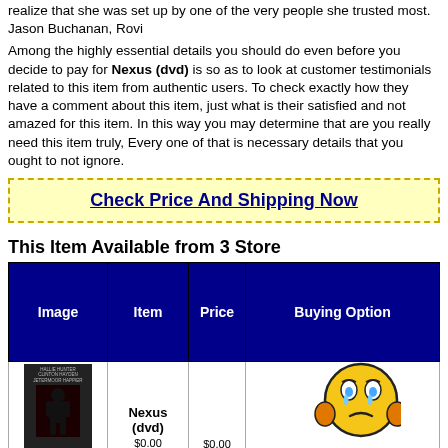realize that she was set up by one of the very people she trusted most. Jason Buchanan, Rovi
Among the highly essential details you should do even before you decide to pay for Nexus (dvd) is so as to look at customer testimonials related to this item from authentic users. To check exactly how they have a comment about this item, just what is their satisfied and not amazed for this item. In this way you may determine that are you really need this item truly, Every one of that is necessary details that you ought to not ignore.
Check Price And Shipping Now
This Item Available from 3 Store
| Image | Item | Price | Buying Option |
| --- | --- | --- | --- |
| [dvd cover image] | Nexus (dvd) | $0.00 | [emoji] |